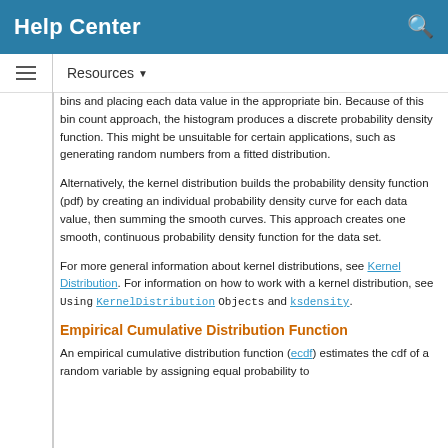Help Center
Resources ▼
bins and placing each data value in the appropriate bin. Because of this bin count approach, the histogram produces a discrete probability density function. This might be unsuitable for certain applications, such as generating random numbers from a fitted distribution.
Alternatively, the kernel distribution builds the probability density function (pdf) by creating an individual probability density curve for each data value, then summing the smooth curves. This approach creates one smooth, continuous probability density function for the data set.
For more general information about kernel distributions, see Kernel Distribution. For information on how to work with a kernel distribution, see Using KernelDistribution Objects and ksdensity.
Empirical Cumulative Distribution Function
An empirical cumulative distribution function (ecdf) estimates the cdf of a random variable by assigning equal probability to